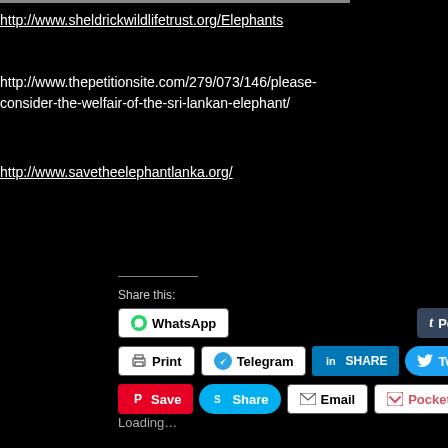http://www.sheldrickwildlifetrust.org/Elephants
http://www.thepetitionsite.com/279/073/146/please-consider-the-welfair-of-the-sri-lankan-elephant/
http://www.savetheelephantlanka.org/
Share this:
[Figure (screenshot): Social sharing buttons: WhatsApp, Post (Tumblr), Print, Telegram, SHARE (LinkedIn), Tweet, Save (Pinterest), Share (Skype), Email, Pocket with count 0]
Loading...